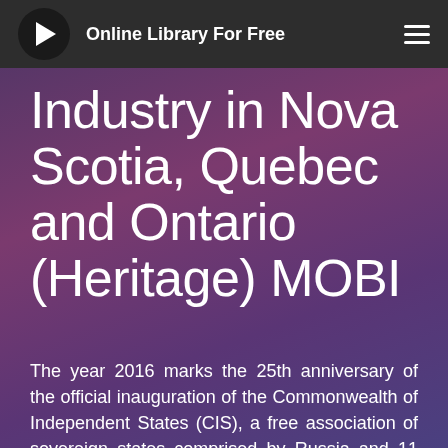Online Library For Free
Industry in Nova Scotia, Quebec and Ontario (Heritage) MOBI
The year 2016 marks the 25th anniversary of the official inauguration of the Commonwealth of Independent States (CIS), a free association of sovereign states comprised by Russia and 11 other republics